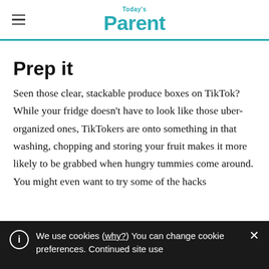Today's Parent
Prep it
Seen those clear, stackable produce boxes on TikTok? While your fridge doesn't have to look like those uber-organized ones, TikTokers are onto something in that washing, chopping and storing your fruit makes it more likely to be grabbed when hungry tummies come around. You might even want to try some of the hacks
We use cookies (why?) You can change cookie preferences. Continued site use